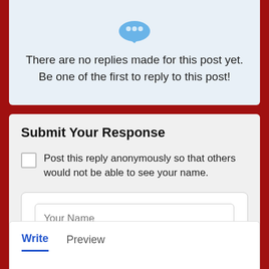[Figure (illustration): Blue bird/chat icon at top of the no-replies panel]
There are no replies made for this post yet. Be one of the first to reply to this post!
Submit Your Response
Post this reply anonymously so that others would not be able to see your name.
Your Name
E-mail
Write
Preview